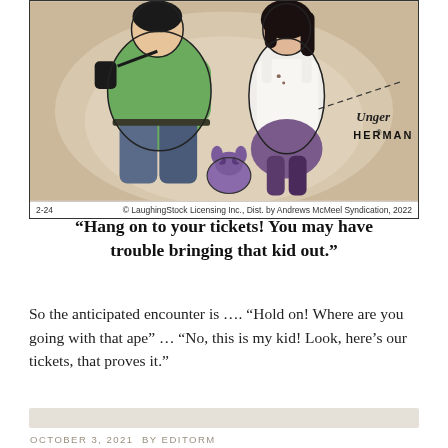[Figure (illustration): Herman comic strip showing two large figures (one in green jacket, one in white tank top) with a small purple animal below. Caption reads '2-24' and '© LaughingStock Licensing Inc., Dist. by Andrews McMeel Syndication, 2022'. Artist signature 'HERMAN' with Unger signature.]
“Hang on to your tickets! You may have trouble bringing that kid out.”
So the anticipated encounter is …. “Hold on! Where are you going with that ape” … “No, this is my kid! Look, here’s our tickets, that proves it.”
OCTOBER 3, 2021 by EDITORM